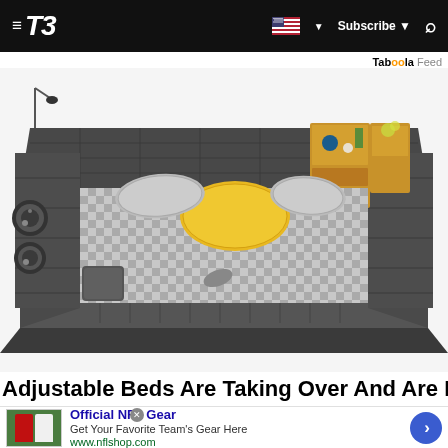T3 — Subscribe | Search
Taboola Feed
[Figure (photo): A large multi-functional bed with dark gray upholstered frame, built-in speakers, storage shelves, side tables with wooden accents, and a plaid/checkered mattress with a yellow pillow.]
Adjustable Beds Are Taking Over And Are Now
Official NFL Gear — Get Your Favorite Team's Gear Here — www.nflshop.com